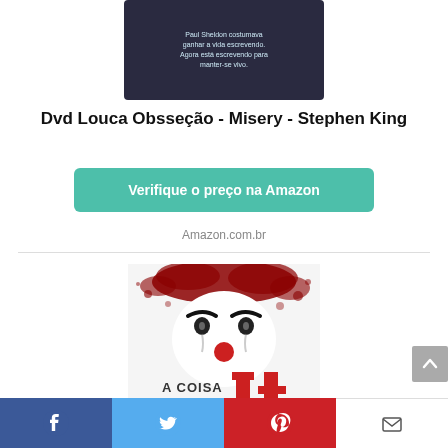[Figure (photo): DVD cover for Misery (Louca Obsseção) - Stephen King, dark background with product image]
Dvd Louca Obsseção - Misery - Stephen King
Verifique o preço na Amazon
Amazon.com.br
[Figure (photo): Book cover of 'A Coisa It' by Stephen King, featuring a horror clown face with red balloon letters spelling IT, red splatter background, and text STEPHEN at bottom]
[Figure (other): Social media share bar at bottom with Facebook, Twitter, Pinterest, and Email icons]